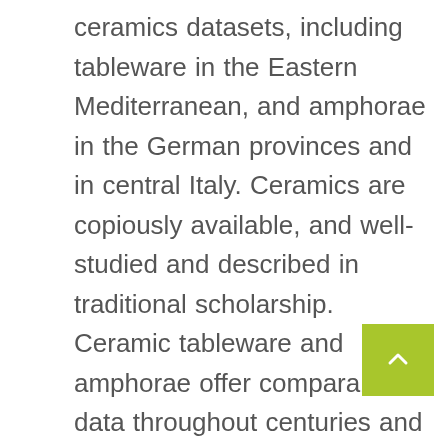ceramics datasets, including tableware in the Eastern Mediterranean, and amphorae in the German provinces and in central Italy. Ceramics are copiously available, and well-studied and described in traditional scholarship. Ceramic tableware and amphorae offer comparable data throughout centuries and the entire Empire, allowing for the study of changes in the intensity and direction of inter-regional trade. The statistical analysis of ceramic dataset focuses on changes through time in the geographical distribution and in the volume and proportions of ceramic types at sites, and trends in correlation between distance